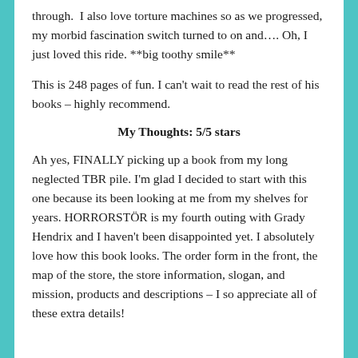through. I also love torture machines so as we progressed, my morbid fascination switch turned to on and…. Oh, I just loved this ride. **big toothy smile**
This is 248 pages of fun. I can't wait to read the rest of his books – highly recommend.
My Thoughts: 5/5 stars
Ah yes, FINALLY picking up a book from my long neglected TBR pile. I'm glad I decided to start with this one because its been looking at me from my shelves for years. HORRORSTÖR is my fourth outing with Grady Hendrix and I haven't been disappointed yet. I absolutely love how this book looks. The order form in the front, the map of the store, the store information, slogan, and mission, products and descriptions – I so appreciate all of these extra details!